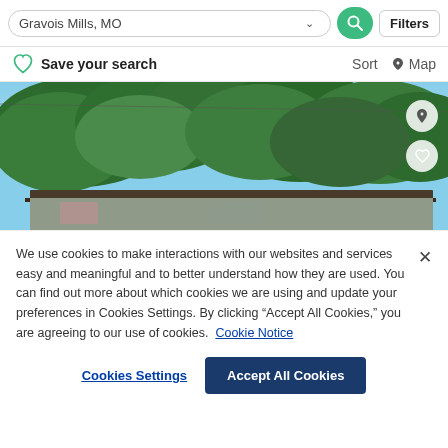Gravois Mills, MO
Filters
Save your search
Sort
Map
[Figure (photo): Exterior photo of a single-story building surrounded by large green trees with a blue sky background]
We use cookies to make interactions with our websites and services easy and meaningful and to better understand how they are used. You can find out more about which cookies we are using and update your preferences in Cookies Settings. By clicking “Accept All Cookies,” you are agreeing to our use of cookies.  Cookie Notice
Cookies Settings
Accept All Cookies